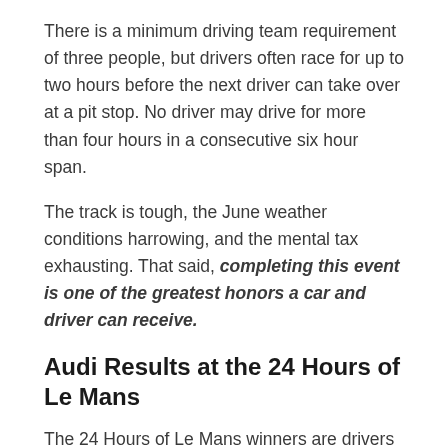There is a minimum driving team requirement of three people, but drivers often race for up to two hours before the next driver can take over at a pit stop. No driver may drive for more than four hours in a consecutive six hour span.
The track is tough, the June weather conditions harrowing, and the mental tax exhausting. That said, completing this event is one of the greatest honors a car and driver can receive.
Audi Results at the 24 Hours of Le Mans
The 24 Hours of Le Mans winners are drivers who cover the most distance at the completion of the final lap. If two cars tie for distance, completion time becomes the deciding factor. All other